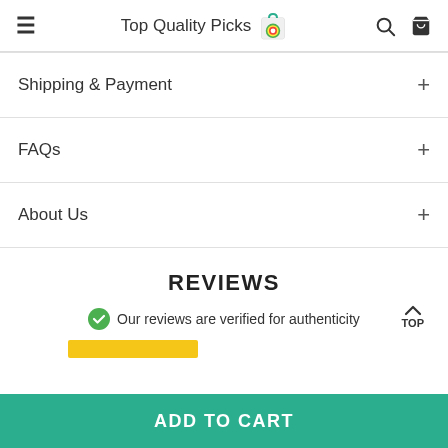Top Quality Picks
Shipping & Payment
FAQs
About Us
REVIEWS
Our reviews are verified for authenticity
ADD TO CART